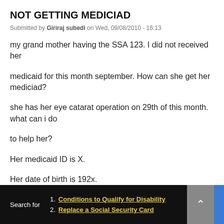NOT GETTING MEDICIAD
Submitted by Giriraj subedi on Wed, 09/08/2010 - 16:13
my grand mother having the SSA 123. I did not received her medicaid for this month september. How can she get her mediciad?
she has her eye catarat operation on 29th of this month. what can i do to help her?
Her medicaid ID is X.
Her date of birth is 192x.
Search for  1. Conditions to Qualify for Disability  2. Replace a Social Security Card